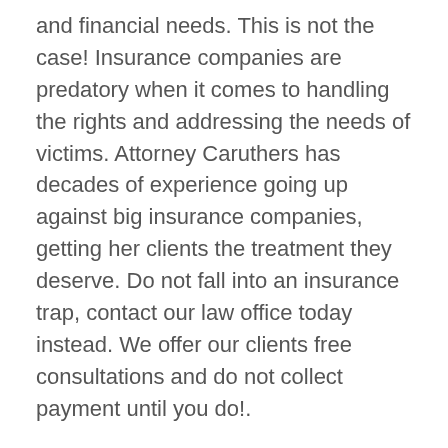and financial needs. This is not the case! Insurance companies are predatory when it comes to handling the rights and addressing the needs of victims. Attorney Caruthers has decades of experience going up against big insurance companies, getting her clients the treatment they deserve. Do not fall into an insurance trap, contact our law office today instead. We offer our clients free consultations and do not collect payment until you do!.
Whenever someone in your family has suffered an injury as a result of the reckless or negligent actions of another, it can be hard to be awarded the money you deserve. This is why, when dealing with a personal injury case, it is best to work with a respected and experienced attorney, such as